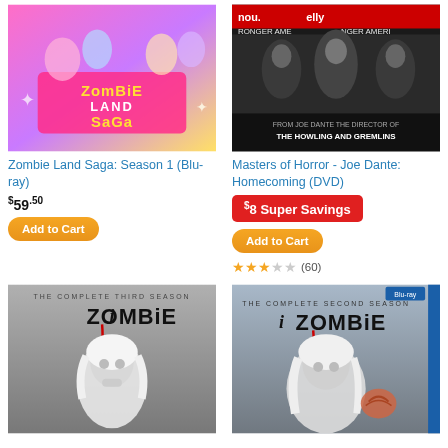[Figure (photo): Zombie Land Saga Season 1 Blu-ray cover art - anime style with colorful zombie girls]
[Figure (photo): Masters of Horror - Joe Dante: Homecoming DVD cover art - soldiers, dark military thriller]
Zombie Land Saga: Season 1 (Blu-ray)
Masters of Horror - Joe Dante: Homecoming (DVD)
$59.50
$8 Super Savings
Add to Cart
Add to Cart
(60)
[Figure (photo): iZombie The Complete Third Season DVD cover - pale zombie woman with white hair]
[Figure (photo): iZombie The Complete Second Season Blu-ray cover - pale zombie woman with white hair holding brain]